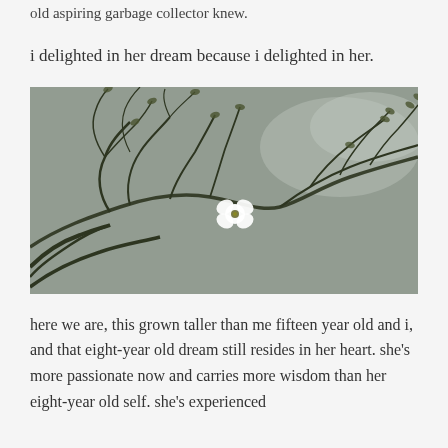old aspiring garbage collector knew.
i delighted in her dream because i delighted in her.
[Figure (photo): A white flower floating on still water with dark branching aquatic plants visible beneath the surface, creating a nature scene reflected in the water.]
here we are, this grown taller than me fifteen year old and i, and that eight-year old dream still resides in her heart.  she's more passionate now and carries more wisdom than her eight-year old self.  she's experienced